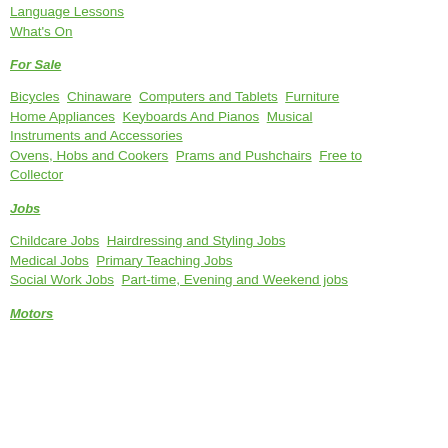Language Lessons
What's On
For Sale
Bicycles Chinaware Computers and Tablets Furniture Home Appliances Keyboards And Pianos Musical Instruments and Accessories Ovens, Hobs and Cookers Prams and Pushchairs Free to Collector
Jobs
Childcare Jobs Hairdressing and Styling Jobs Medical Jobs Primary Teaching Jobs Social Work Jobs Part-time, Evening and Weekend jobs
Motors